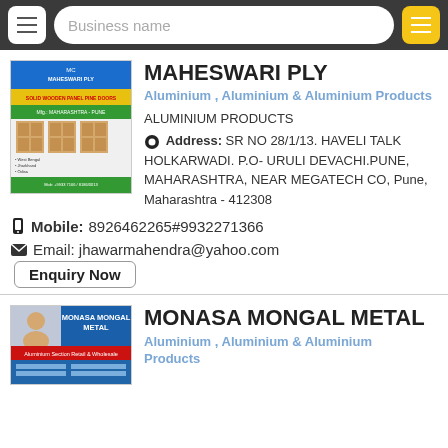Business name search bar with navigation
MAHESWARI PLY
Aluminium , Aluminium & Aluminium Products
ALUMINIUM PRODUCTS
Address: SR NO 28/1/13. HAVELI TALK HOLKARWADI. P.O- URULI DEVACHI.PUNE, MAHARASHTRA, NEAR MEGATECH CO, Pune, Maharashtra - 412308
Mobile: 8926462265#9932271366
Email: jhawarmahendra@yahoo.com
Enquiry Now
MONASA MONGAL METAL
Aluminium , Aluminium & Aluminium Products